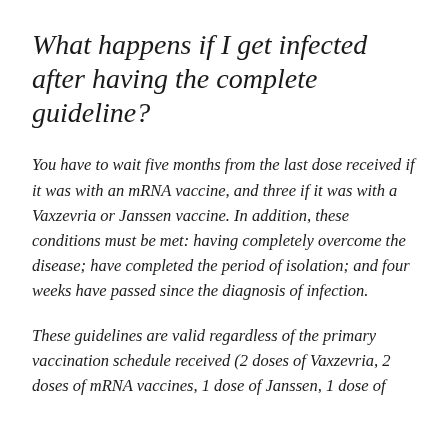What happens if I get infected after having the complete guideline?
You have to wait five months from the last dose received if it was with an mRNA vaccine, and three if it was with a Vaxzevria or Janssen vaccine. In addition, these conditions must be met: having completely overcome the disease; have completed the period of isolation; and four weeks have passed since the diagnosis of infection.
These guidelines are valid regardless of the primary vaccination schedule received (2 doses of Vaxzevria, 2 doses of mRNA vaccines, 1 dose of Janssen, 1 dose of